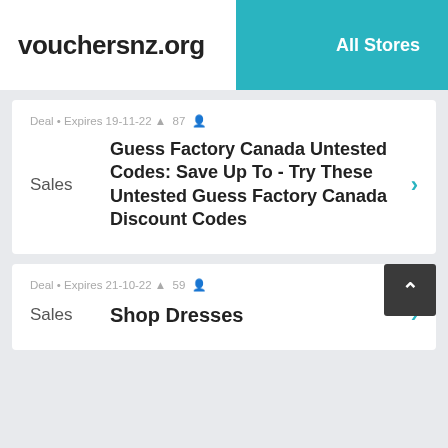vouchersnz.org | All Stores
Deal • Expires 19-11-22 🔔 87 👤
Guess Factory Canada Untested Codes: Save Up To - Try These Untested Guess Factory Canada Discount Codes
Sales
Deal • Expires 21-10-22 🔔 59 👤
Shop Dresses
Sales